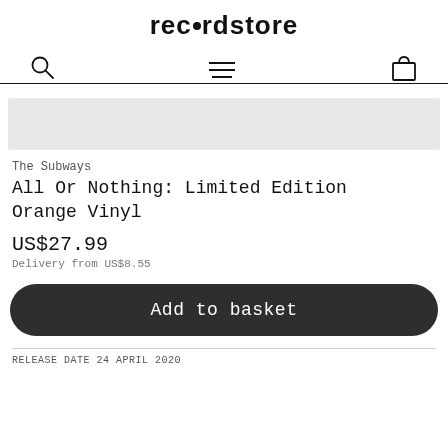rec•rdstore
[Figure (screenshot): Navigation bar icons: search (magnifying glass), hamburger menu (three lines), shopping basket]
[Figure (other): Product image placeholder - light grey rectangle]
The Subways
All Or Nothing: Limited Edition Orange Vinyl
US$27.99
Delivery from US$8.55
Add to basket
RELEASE DATE 24 APRIL 2020